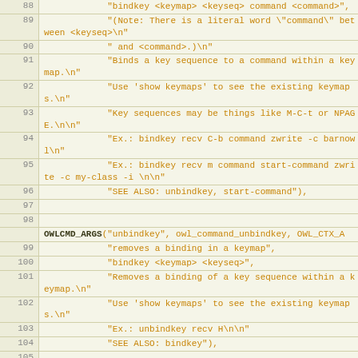[Figure (screenshot): Source code listing in monospace font showing C code for bindkey, unbindkey, and zwrite OWL commands, lines 88-109, with line numbers in left column and code in tan/brown color on cream background.]